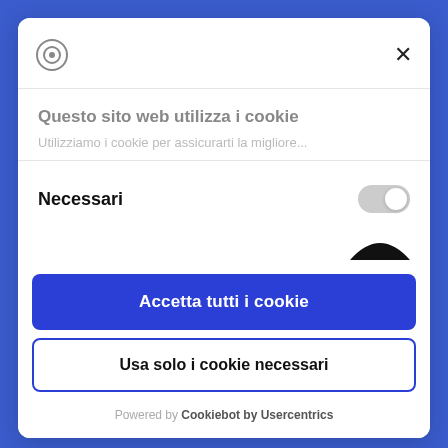[Figure (logo): Cookie consent dialog logo (target/cookie icon)]
×
Questo sito web utilizza i cookie
Utilizziamo i cookie per assicurarti la migliore...
Necessari
[Figure (other): Toggle switch in off/gray position]
[Figure (other): Partial arc/icon (bottom of dialog)]
Accetta tutti i cookie
Usa solo i cookie necessari
Powered by Cookiebot by Usercentrics